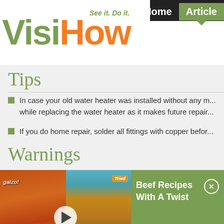[Figure (logo): VisiHow logo with tagline 'See it. Do it.' in green and orange]
Home  Articles
Tips
In case your old water heater was installed without any m... while replacing the water heater as it makes future repair...
If you do home repair, solder all fittings with copper befor...
Warnings
[Figure (screenshot): Video ad showing beef food images with play button and title 'Beef Recipes With A Twist']
the comments section below.
Comments